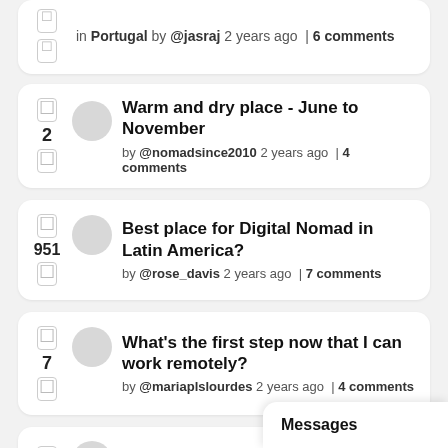in Portugal by @jasraj 2 years ago | 6 comments
Warm and dry place - June to November by @nomadsince2010 2 years ago | 4 comments, votes: 2
Best place for Digital Nomad in Latin America? by @rose_davis 2 years ago | 7 comments, votes: 951
What's the first step now that I can work remotely? by @mariaplslourdes 2 years ago | 4 comments, votes: 7
Messages